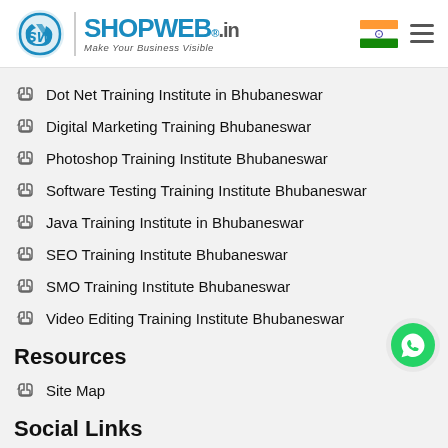[Figure (logo): Shopweb.in logo with tagline Make Your Business Visible and Indian flag and hamburger menu]
Dot Net Training Institute in Bhubaneswar
Digital Marketing Training Bhubaneswar
Photoshop Training Institute Bhubaneswar
Software Testing Training Institute Bhubaneswar
Java Training Institute in Bhubaneswar
SEO Training Institute Bhubaneswar
SMO Training Institute Bhubaneswar
Video Editing Training Institute Bhubaneswar
Resources
Site Map
Social Links